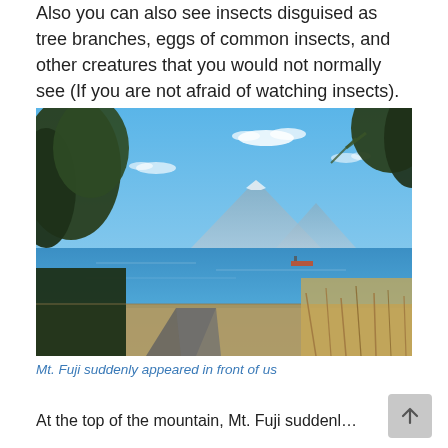Also you can also see insects disguised as tree branches, eggs of common insects, and other creatures that you would not normally see (If you are not afraid of watching insects).
[Figure (photo): A scenic coastal view with Mt. Fuji visible in the background across the ocean, framed by trees and dry grass on a sunny day, with a path in the foreground.]
Mt. Fuji suddenly appeared in front of us
At the top of the mountain...